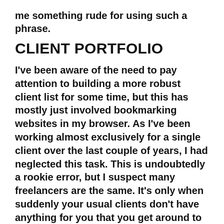me something rude for using such a phrase.
CLIENT PORTFOLIO
I've been aware of the need to pay attention to building a more robust client list for some time, but this has mostly just involved bookmarking websites in my browser. As I've been working almost exclusively for a single client over the last couple of years, I had neglected this task. This is undoubtedly a rookie error, but I suspect many freelancers are the same. It's only when suddenly your usual clients don't have anything for you that you get around to contacting others.
To organise myself, I've created a board in Trello using the classic Kanban columns layout to keep tabs on the process with each potential client, i.e.